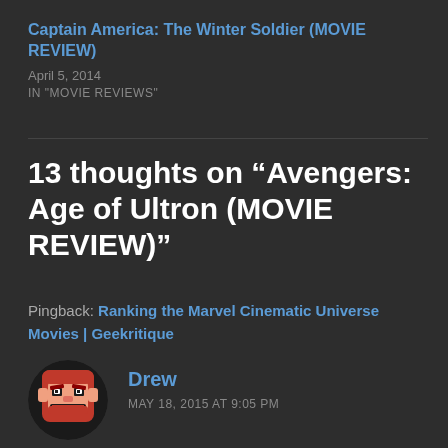Captain America: The Winter Soldier (MOVIE REVIEW)
April 5, 2014
IN "MOVIE REVIEWS"
13 thoughts on “Avengers: Age of Ultron (MOVIE REVIEW)”
Pingback: Ranking the Marvel Cinematic Universe Movies | Geekritique
Drew
MAY 18, 2015 AT 9:05 PM